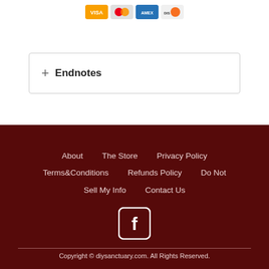[Figure (other): Payment method icons: Visa, Mastercard, American Express, Discover]
+ Endnotes
About  The Store  Privacy Policy  Terms&Conditions  Refunds Policy  Do Not Sell My Info  Contact Us
[Figure (other): Facebook social media icon (white rounded square with F logo)]
Copyright © diysanctuary.com. All Rights Reserved.